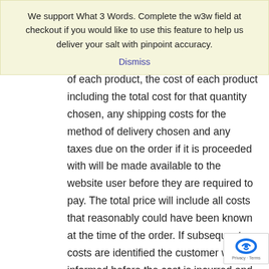We support What 3 Words. Complete the w3w field at checkout if you would like to use this feature to help us deliver your salt with pinpoint accuracy.
Dismiss
of each product, the cost of each product including the total cost for that quantity chosen, any shipping costs for the method of delivery chosen and any taxes due on the order if it is proceeded with will be made available to the website user before they are required to pay. The total price will include all costs that reasonably could have been known at the time of the order. If subsequent costs are identified the customer will be informed before the cost is incurred and given the choice to continue with the additional cost, without the additional cost or to cease the contract.